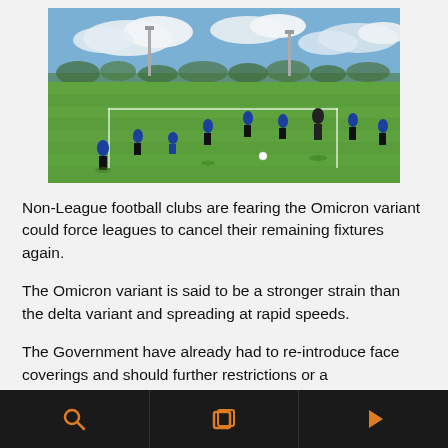[Figure (photo): Outdoor football training session on a green grass pitch. Multiple players in blue jerseys and one in dark/referee kit are spread across the field. Blue sky with white clouds in background, floodlight poles visible.]
Non-League football clubs are fearing the Omicron variant could force leagues to cancel their remaining fixtures again.
The Omicron variant is said to be a stronger strain than the delta variant and spreading at rapid speeds.
The Government have already had to re-introduce face coverings and should further restrictions or a